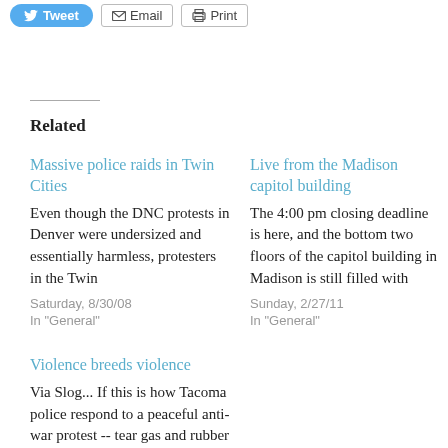Tweet | Email | Print
Related
Massive police raids in Twin Cities
Even though the DNC protests in Denver were undersized and essentially harmless, protesters in the Twin
Saturday, 8/30/08
In "General"
Live from the Madison capitol building
The 4:00 pm closing deadline is here, and the bottom two floors of the capitol building in Madison is still filled with
Sunday, 2/27/11
In "General"
Violence breeds violence
Via Slog... If this is how Tacoma police respond to a peaceful anti-war protest -- tear gas and rubber bullets -- imagine
Monday, 3/12/07
In "General"